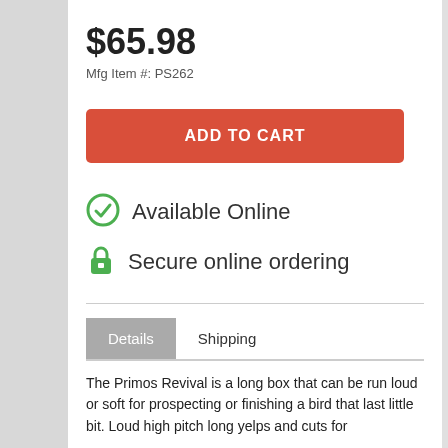$65.98
Mfg Item #: PS262
ADD TO CART
Available Online
Secure online ordering
Details   Shipping
The Primos Revival is a long box that can be run loud or soft for prospecting or finishing a bird that last little bit. Loud high pitch long yelps and cuts for